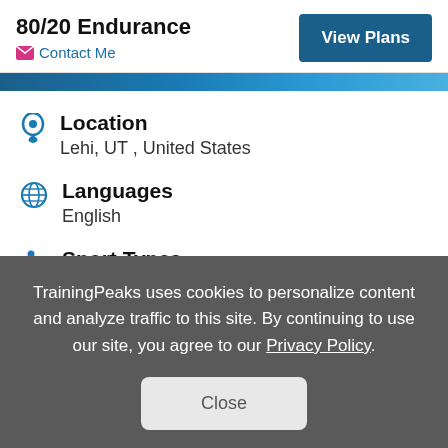80/20 Endurance
Contact Me
View Plans
Location
Lehi, UT , United States
Languages
English
Sport Types
TrainingPeaks uses cookies to personalize content and analyze traffic to this site. By continuing to use our site, you agree to our Privacy Policy.
Close